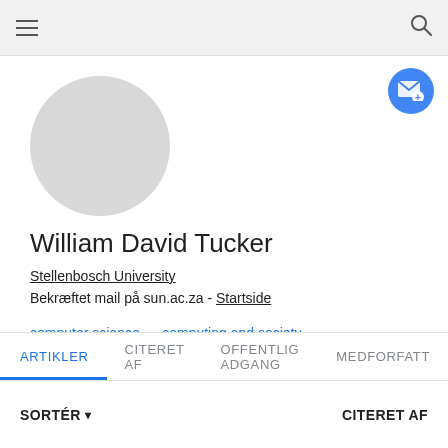Navigation bar with hamburger menu and search icon
[Figure (illustration): Circular grey avatar placeholder image]
William David Tucker
Stellenbosch University
Bekræftet mail på sun.ac.za - Startside
computer science
computing and society
social innovation
community development
ARTIKLER   CITERET AF   OFFENTLIG ADGANG   MEDFORFATT
SORTÉR ▾   CITERET AF